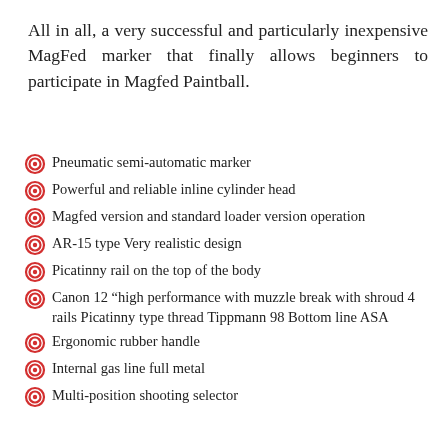All in all, a very successful and particularly inexpensive MagFed marker that finally allows beginners to participate in Magfed Paintball.
Pneumatic semi-automatic marker
Powerful and reliable inline cylinder head
Magfed version and standard loader version operation
AR-15 type Very realistic design
Picatinny rail on the top of the body
Canon 12 “high performance with muzzle break with shroud 4 rails Picatinny type thread Tippmann 98 Bottom line ASA
Ergonomic rubber handle
Internal gas line full metal
Multi-position shooting selector